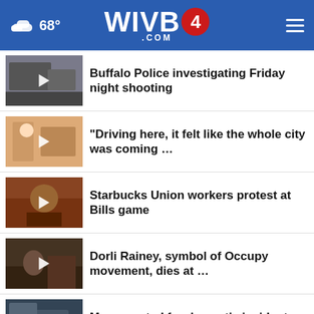WIVB4.com — 68°
Buffalo Police investigating Friday night shooting
“Driving here, it felt like the whole city was coming …
Starbucks Union workers protest at Bills game
Dorli Rainey, symbol of Occupy movement, dies at …
Man arrested for domestic incident involving gun, …
[Figure (screenshot): Ad banner: GET DOWN WITH YOUR BLOOD PRESSURE — ACT NOW, with ad council, American Heart Association, and AMA logos]